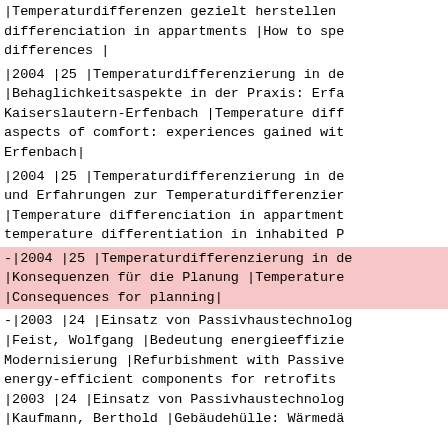|Temperaturdifferenzen gezielt herstellen differenciation in appartments |How to spe differences |
|2004 |25 |Temperaturdifferenzierung in de |Behaglichkeitsaspekte in der Praxis: Erfa Kaiserslautern-Erfenbach |Temperature diff aspects of comfort: experiences gained wit Erfenbach|
|2004 |25 |Temperaturdifferenzierung in de und Erfahrungen zur Temperaturdifferenzier |Temperature differenciation in appartment temperature differentiation in inhabited P
-|2004 |25 |Temperaturdifferenzierung in de |Konsequenzen für die Planung |Temperature |Consequences for planning|
-|2003 |24 |Einsatz von Passivhaustechnolog |Feist, Wolfgang |Bedeutung energieeffizie Modernisierung |Refurbishment with Passive energy-efficient components for retrofits |2003 |24 |Einsatz von Passivhaustechnolog |Kaufmann, Berthold |Gebäudehülle: Wärmedä